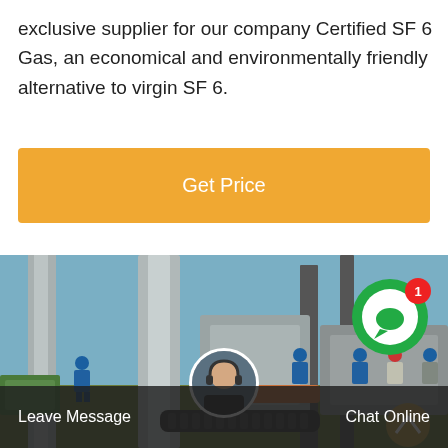exclusive supplier for our company Certified SF 6 Gas, an economical and environmentally friendly alternative to virgin SF 6.
[Figure (other): Orange 'Get Price' button]
[Figure (photo): Workers in blue hard hats and coveralls at an outdoor electrical substation with large industrial equipment, pipes and transformers. A green chat bubble icon with a red badge showing '1' is overlaid in the upper right area.]
Leave Message   Chat Online